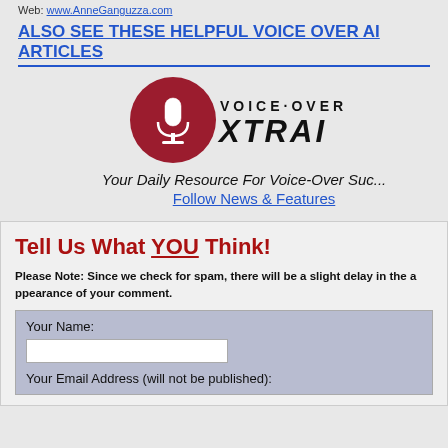Web: www.AnneGanguzza.com
ALSO SEE THESE HELPFUL VOICE OVER AI ARTICLES
[Figure (logo): Voice-Over Xtrai logo with red microphone circle and bold text]
Your Daily Resource For Voice-Over Success
Follow News & Features
Tell Us What YOU Think!
Please Note: Since we check for spam, there will be a slight delay in the appearance of your comment.
Your Name:
Your Email Address (will not be published):